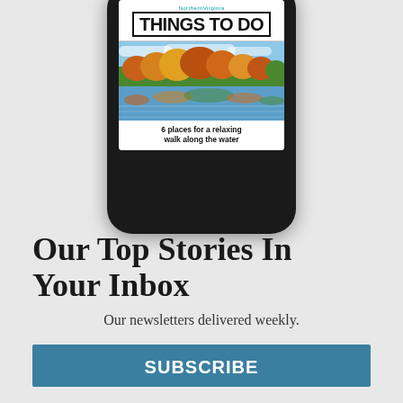[Figure (screenshot): Smartphone mockup showing Northern Virginia Things To Do newsletter with an autumn lake scene photo and caption '6 places for a relaxing walk along the water']
Our Top Stories In Your Inbox
Our newsletters delivered weekly.
SUBSCRIBE